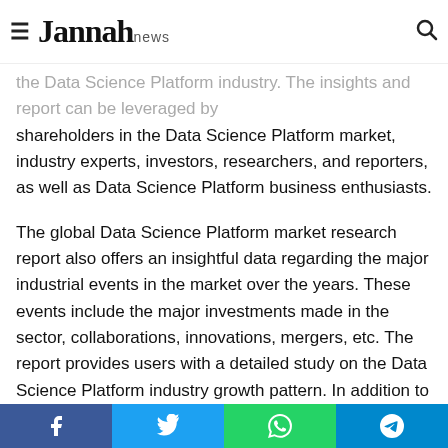≡ Jannah news [search icon]
the Data Science Platform industry. The insights and report can be leveraged by shareholders in the Data Science Platform market, industry experts, investors, researchers, and reporters, as well as Data Science Platform business enthusiasts.
The global Data Science Platform market research report also offers an insightful data regarding the major industrial events in the market over the years. These events include the major investments made in the sector, collaborations, innovations, mergers, etc. The report provides users with a detailed study on the Data Science Platform industry growth pattern. In addition to that, the detailed analysis of all the key growth drivers of the market growth and the restraints in also covered in the market research report. The research report on the Data Science Platform market includes the study of all the strategies
Facebook | Twitter | WhatsApp | Telegram